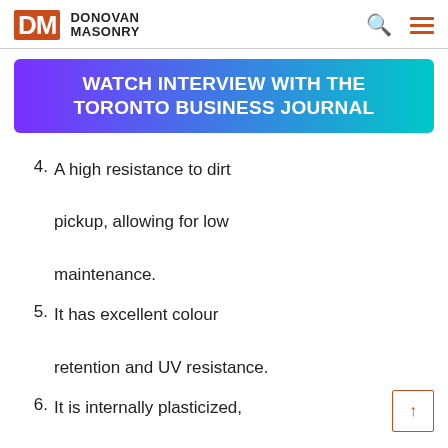DM DONOVAN MASONRY
[Figure (infographic): Banner with gradient background (purple to teal) reading WATCH INTERVIEW WITH THE TORONTO BUSINESS JOURNAL in white bold uppercase text]
4. A high resistance to dirt pickup, allowing for low maintenance.
5. It has excellent colour retention and UV resistance.
6. It is internally plasticized, which retains its flexibility for durable service.
7. It is a carbon-dioxide